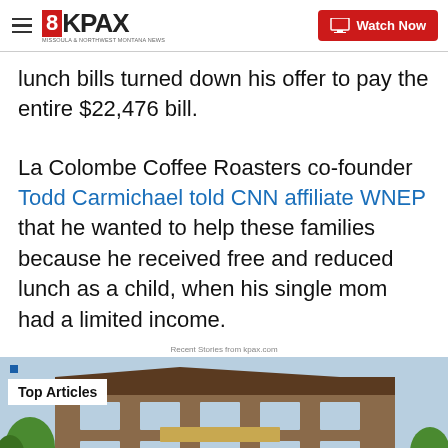8KPAX | Watch Now
lunch bills turned down his offer to pay the entire $22,476 bill.
La Colombe Coffee Roasters co-founder Todd Carmichael told CNN affiliate WNEP that he wanted to help these families because he received free and reduced lunch as a child, when his single mom had a limited income.
Recent Stories from kpax.com
[Figure (photo): Building exterior photo with 'Top Articles' overlay badge]